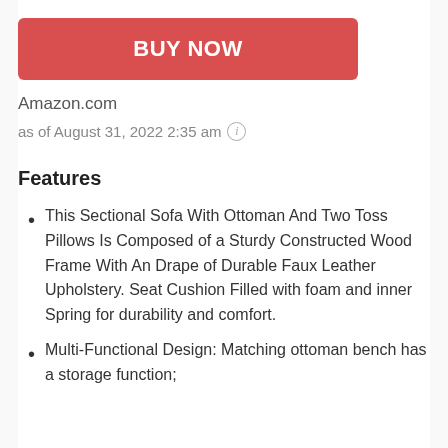[Figure (other): Red BUY NOW button]
Amazon.com
as of August 31, 2022 2:35 am (i)
Features
This Sectional Sofa With Ottoman And Two Toss Pillows Is Composed of a Sturdy Constructed Wood Frame With An Drape of Durable Faux Leather Upholstery. Seat Cushion Filled with foam and inner Spring for durability and comfort.
Multi-Functional Design: Matching ottoman bench has a storage function;